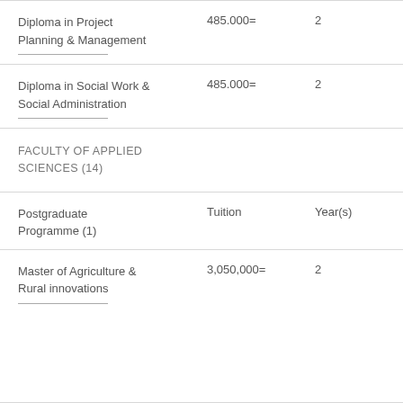| Programme | Tuition | Year(s) |
| --- | --- | --- |
| Diploma in Project Planning & Management | 485.000= | 2 |
| Diploma in Social Work & Social Administration | 485.000= | 2 |
| FACULTY OF APPLIED SCIENCES (14) |  |  |
| Postgraduate Programme (1) | Tuition | Year(s) |
| Master of Agriculture & Rural innovations | 3,050,000= | 2 |